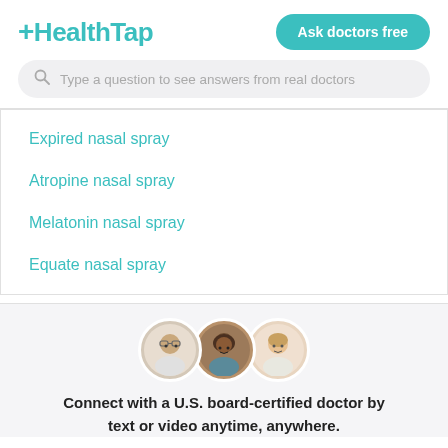+HealthTap
Ask doctors free
Type a question to see answers from real doctors
Expired nasal spray
Atropine nasal spray
Melatonin nasal spray
Equate nasal spray
[Figure (photo): Three circular doctor profile photos overlapping slightly]
Connect with a U.S. board-certified doctor by text or video anytime, anywhere.